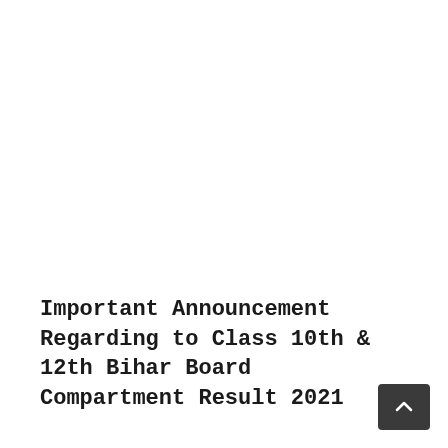Important Announcement Regarding to Class 10th & 12th Bihar Board Compartment Result 2021